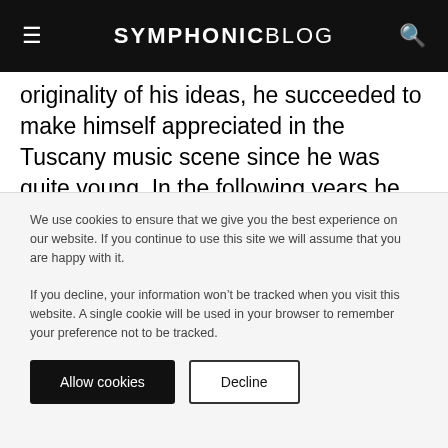SYMPHONIC BLOG
originality of his ideas, he succeeded to make himself appreciated in the Tuscany music scene since he was quite young. In the following years he became resident DJ of some local clubs, and thanks to his dedication to the job, “the bet” turned into a real talent! The next step came when he started producing regularly. Tracks like “Bottle Of Truth”, “ Danzen Appeal”, “Burn ThatGasoline”, and “Daemonesque”
We use cookies to ensure that we give you the best experience on our website. If you continue to use this site we will assume that you are happy with it.

If you decline, your information won’t be tracked when you visit this website. A single cookie will be used in your browser to remember your preference not to be tracked.